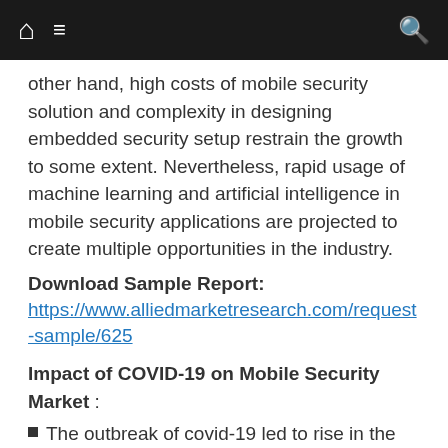navigation bar with home, menu, and search icons
other hand, high costs of mobile security solution and complexity in designing embedded security setup restrain the growth to some extent. Nevertheless, rapid usage of machine learning and artificial intelligence in mobile security applications are projected to create multiple opportunities in the industry.
Download Sample Report: https://www.alliedmarketresearch.com/request-sample/625
Impact of COVID-19 on Mobile Security Market :
The outbreak of covid-19 led to rise in the trend of mobile payments, which in turn boosted the global mobile security market.
This trend is likely to continue post pandemic